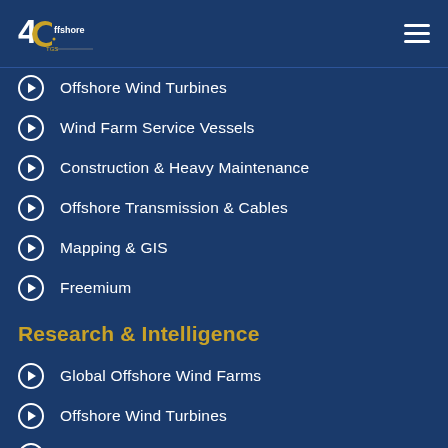4COffshore by TGS
Offshore Wind Turbines
Wind Farm Service Vessels
Construction & Heavy Maintenance
Offshore Transmission & Cables
Mapping & GIS
Freemium
Research & Intelligence
Global Offshore Wind Farms
Offshore Wind Turbines
Global Offshore Wind Speed